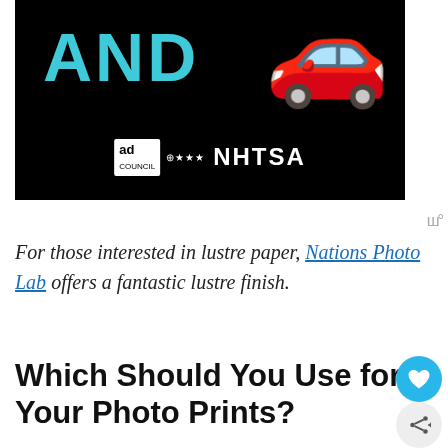[Figure (illustration): Advertisement banner with black background showing 'AND' text in teal/cyan color and a red car emoji, with ad council and NHTSA logos at the bottom]
For those interested in lustre paper, Nations Photo Lab offers a fantastic lustre finish.
Which Should You Use for Your Photo Prints?
So when it comes to lustre vs. glossy, both do make for beautiful photographs, but t... option that is best for you depends on t...